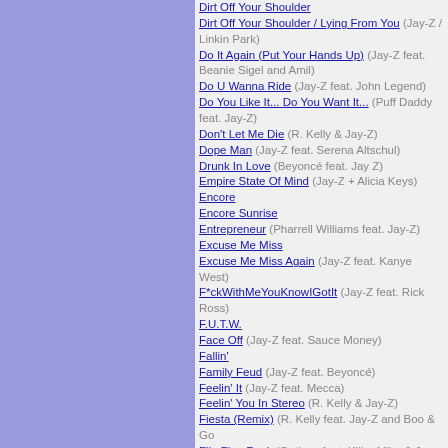Dirt Off Your Shoulder
Dirt Off Your Shoulder / Lying From You (Jay-Z / Linkin Park)
Do It Again (Put Your Hands Up) (Jay-Z feat. Beanie Sigel and Amil)
Do U Wanna Ride (Jay-Z feat. John Legend)
Do You Like It... Do You Want It... (Puff Daddy feat. Jay-Z)
Don't Let Me Die (R. Kelly & Jay-Z)
Dope Man (Jay-Z feat. Serena Altschul)
Drunk In Love (Beyoncé feat. Jay Z)
Empire State Of Mind (Jay-Z + Alicia Keys)
Encore
Encore Sunrise
Entrepreneur (Pharrell Williams feat. Jay-Z)
Excuse Me Miss
Excuse Me Miss Again (Jay-Z feat. Kanye West)
F*ckWithMeYouKnowIGotIt (Jay-Z feat. Rick Ross)
F.U.T.W.
Face Off (Jay-Z feat. Sauce Money)
Fallin'
Family Feud (Jay-Z feat. Beyoncé)
Feelin' It (Jay-Z feat. Mecca)
Feelin' You In Stereo (R. Kelly & Jay-Z)
Fiesta (Remix) (R. Kelly feat. Jay-Z and Boo & Gotti)
Flip Flop Rock (Outkast feat. Killer Mike & Jay-Z)
Free Mason (Rick Ross feat. Jay-Z)
Friend Or Foe
Friend Or Foe '98
Friends (The Carters)
Frontin' (Pharrell Williams feat. Jay-Z)
Fuck All Nite (Jay-Z feat. Pharrell Williams)
Get This Money (R. Kelly & Jay-Z)
Get Your Mind Right Mami (Jay-Z feat. Snoop Dogg)
Girls' Best Friend
Girls, Girls, Girls
Glory (Jay-Z feat. Blue Ivy Carter)
Gotta Have It (Jay-Z / Kanye West)